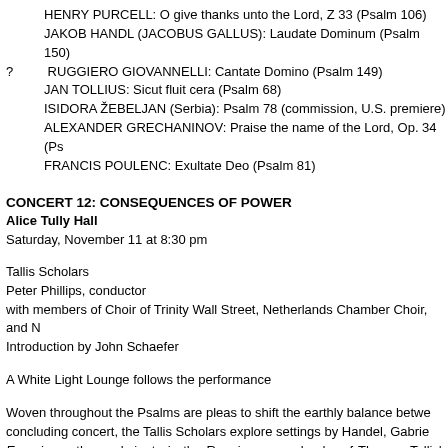HENRY PURCELL: O give thanks unto the Lord, Z 33 (Psalm 106)
JAKOB HANDL (JACOBUS GALLUS): Laudate Dominum (Psalm 150)
? RUGGIERO GIOVANNELLI: Cantate Domino (Psalm 149)
JAN TOLLIUS: Sicut fluit cera (Psalm 68)
ISIDORA ŽEBELJAN (Serbia): Psalm 78 (commission, U.S. premiere)
ALEXANDER GRECHANINOV: Praise the name of the Lord, Op. 34 (Ps...
FRANCIS POULENC: Exultate Deo (Psalm 81)
CONCERT 12: CONSEQUENCES OF POWER
Alice Tully Hall
Saturday, November 11 at 8:30 pm
Tallis Scholars
Peter Phillips, conductor
with members of Choir of Trinity Wall Street, Netherlands Chamber Choir, and N...
Introduction by John Schaefer
A White Light Lounge follows the performance
Woven throughout the Psalms are pleas to shift the earthly balance betwe... concluding concert, the Tallis Scholars explore settings by Handel, Gabrie... Experience then culminate in the Renaissance splendor of Thomas Tallis's Sp... join forces to offer up an ecstatic expression of praise.
PLAINCHANT: Psalm 58, according to the Church of Rome (Psalm 58)